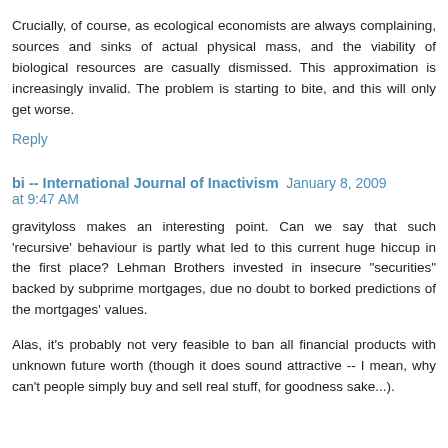Crucially, of course, as ecological economists are always complaining, sources and sinks of actual physical mass, and the viability of biological resources are casually dismissed. This approximation is increasingly invalid. The problem is starting to bite, and this will only get worse.
Reply
bi -- International Journal of Inactivism   January 8, 2009 at 9:47 AM
gravityloss makes an interesting point. Can we say that such 'recursive' behaviour is partly what led to this current huge hiccup in the first place? Lehman Brothers invested in insecure "securities" backed by subprime mortgages, due no doubt to borked predictions of the mortgages' values.
Alas, it's probably not very feasible to ban all financial products with unknown future worth (though it does sound attractive -- I mean, why can't people simply buy and sell real stuff, for goodness sake...).